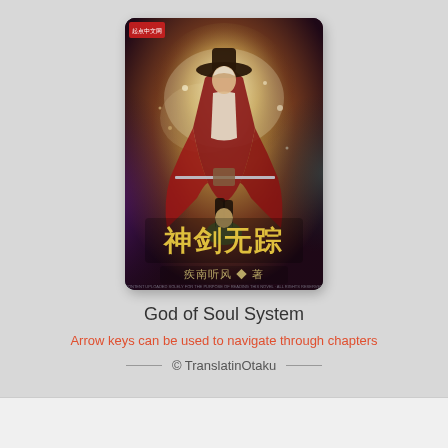[Figure (illustration): Book cover of 'God of Soul System' Chinese light novel, showing an anime-style character in a red coat holding a sword, with Chinese title characters and author name, dramatic fantasy background with light effects.]
God of Soul System
Arrow keys can be used to navigate through chapters
© TranslatinOtaku